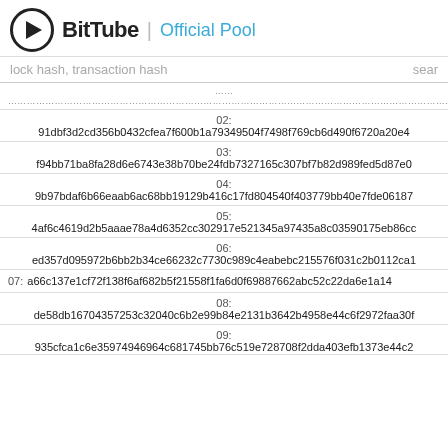BitTube | Official Pool
lock hash, transaction hash    sear
02: 91dbf3d2cd356b0432cfea7f600b1a79349504f7498f769cb6d490f6720a20e4
03: f94bb71ba8fa28d6e6743e38b70be24fdb7327165c307bf7b82d989fed5d87e0
04: 9b97bdaf6b66eaab6ac68bb19129b416c17fd804540f403779bb40e7fde06187
05: 4af6c4619d2b5aaae78a4d6352cc302917e521345a97435a8c03590175eb86cc
06: ed357d095972b6bb2b34ce66232c7730c989c4eabebc215576f031c2b0112ca1
07: a66c137e1cf72f138f6af682b5f21558f1fa6d0f69887662abc52c22da6e1a14
08: de58db16704357253c32040c6b2e99b84e2131b3642b4958e44c6f2972faa30f
09: 935cfca1c6e35974946964c681745bb76c519e728708f2dda403efb1373e44c2